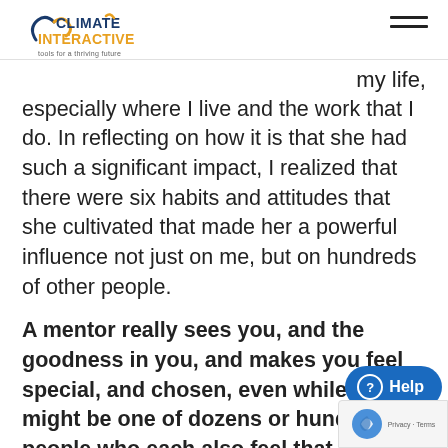Climate Interactive — tools for a thriving future
my life, especially where I live and the work that I do. In reflecting on how it is that she had such a significant impact, I realized that there were six habits and attitudes that she cultivated that made her a powerful influence not just on me, but on hundreds of other people.
A mentor really sees you, and the goodness in you, and makes you feel special, and chosen, even while you might be one of dozens or hundreds of people who each also feel that special bond. Even fifteen years after her death, I run into people [who] tell how much Dana influenced them.